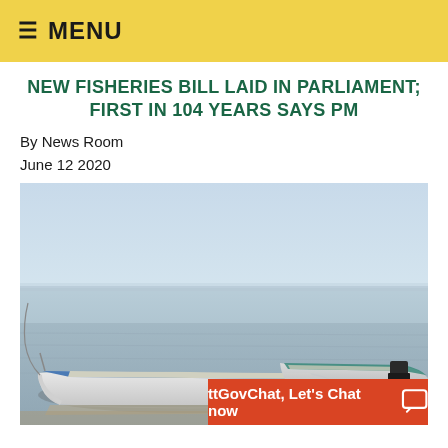≡ MENU
NEW FISHERIES BILL LAID IN PARLIAMENT; FIRST IN 104 YEARS SAYS PM
By News Room
June 12 2020
[Figure (photo): Two fishing boats moored in calm shallow sea water, with a hazy blue sky in the background. The boats are white with blue trim. An outboard motor is visible on the rear boat.]
ttGovChat, Let's Chat now